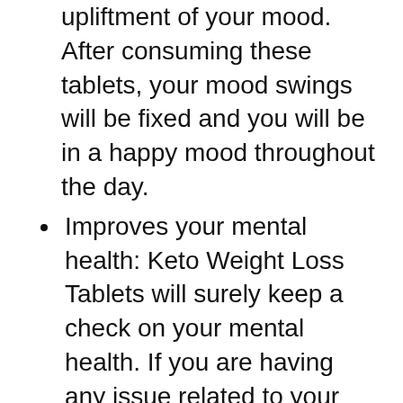upliftment of your mood. After consuming these tablets, your mood swings will be fixed and you will be in a happy mood throughout the day.
Improves your mental health: Keto Weight Loss Tablets will surely keep a check on your mental health. If you are having any issue related to your mental health or if your mental health is not in a good place, then do not worry as Keto Weight Loss Tablets will help you stay happy and relaxed. With the help of this product, you will be able to have a happy life with fewer health issues. Read Also: Prima Weight Loss Pills Reviews: UK, IE Diet Capsules, Tablets Consumers Experience?